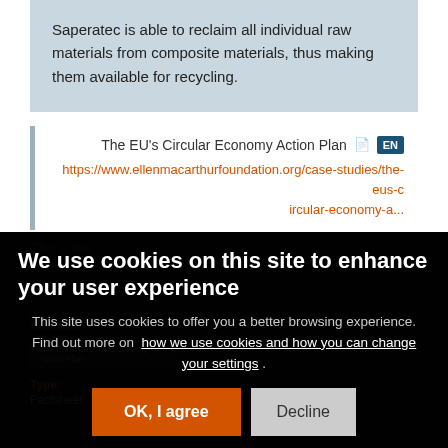Saperatec is able to reclaim all individual raw materials from composite materials, thus making them available for recycling.
The EU's Circular Economy Action Plan
https://www.ellenmacarthurfoundation.org/case-studies/the-eus-circular-economy-a...
We use cookies on this site to enhance your user experience
This site uses cookies to offer you a better browsing experience. Find out more on how we use cookies and how you can change your settings .
OK, I agree
Decline
Type:
Factsheet